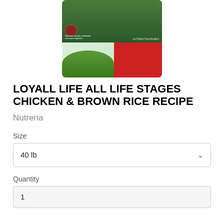[Figure (photo): Product image of Loyall Life All Life Stages Chicken & Brown Rice Recipe dog food bag, showing a dog on the packaging with a red panel containing bullet points and 'no corn, wheat or soy' text, on a white background]
LOYALL LIFE ALL LIFE STAGES CHICKEN & BROWN RICE RECIPE
Nutrena
Size
40 lb
Quantity
1